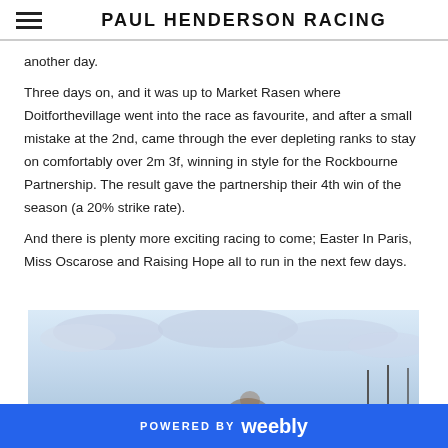PAUL HENDERSON RACING
another day.
Three days on, and it was up to Market Rasen where Doitforthevillage went into the race as favourite, and after a small mistake at the 2nd, came through the ever depleting ranks to stay on comfortably over 2m 3f, winning in style for the Rockbourne Partnership. The result gave the partnership their 4th win of the season (a 20% strike rate).
And there is plenty more exciting racing to come; Easter In Paris, Miss Oscarose and Raising Hope all to run in the next few days.
[Figure (photo): Outdoor photo showing a pale blue sky with clouds, partial view of a horse race scene below]
POWERED BY weebly